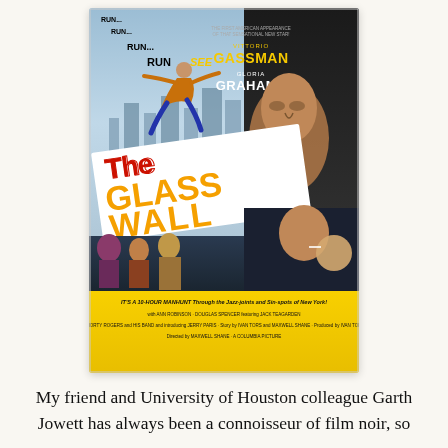[Figure (illustration): Movie poster for 'The Glass Wall' (1953), a Columbia Picture. Features bold red and yellow title text on a diagonal white banner. Shows a man running/leaping across a cityscape at top, a close-up of a male actor (Vittorio Gassman) on upper right in dark panel, and a couple embracing in lower right. Text includes 'RUN... RUN... RUN... RUN SEE', actor names Vittorio Gassman and Gloria Grahame, tagline 'IT'S A 10-HOUR MANHUNT Through the Jazz-joints and Sin-spots of New York!', and credits for Ann Robinson, Douglas Spencer, Jack Teagarden, Shorty Rogers and His Band, Jerry Paris. Produced by Ivan Tors, directed by Maxwell Shane. Bottom section is yellow.]
My friend and University of Houston colleague Garth Jowett has always been a connoisseur of film noir, so